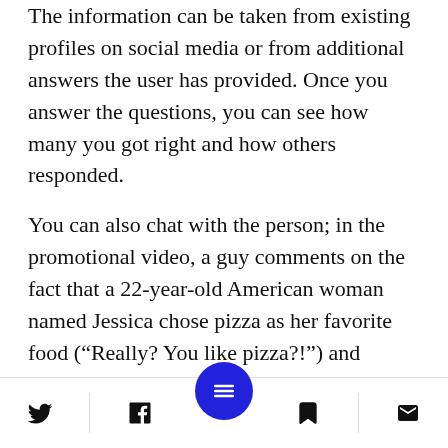The information can be taken from existing profiles on social media or from additional answers the user has provided. Once you answer the questions, you can see how many you got right and how others responded.
You can also chat with the person; in the promotional video, a guy comments on the fact that a 22-year-old American woman named Jessica chose pizza as her favorite food (“Really? You like pizza?!”) and receives the response “Not all girls are scared of carbs ;).”
“I wanted people to have the option of seeing